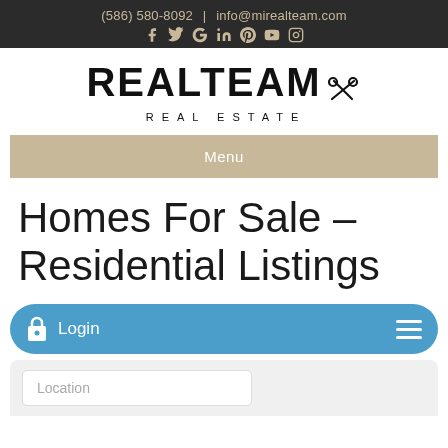(586) 580-8092 | info@mirealteam.com
[Figure (logo): Realteam Real Estate logo with crossed keys icon]
Menu
Homes For Sale – Residential Listings
Login
Location